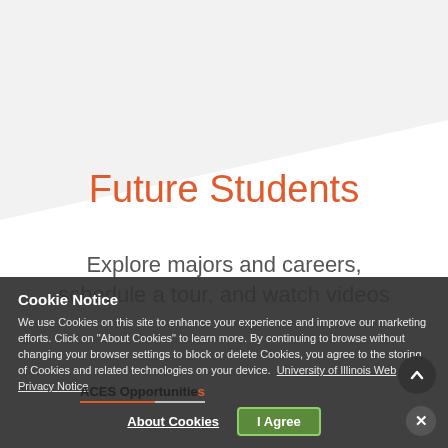[Figure (illustration): Decorative diagonal gray background hero section at top of page]
Future Students
Explore majors and careers, schedule a tour, and watch videos
Cookie Notice

We use Cookies on this site to enhance your experience and improve our marketing efforts. Click on "About Cookies" to learn more. By continuing to browse without changing your browser settings to block or delete Cookies, you agree to the storing of Cookies and related technologies on your device. University of Illinois Web Privacy Notice
ACES Opportunitie...
About Cookies
I Agree